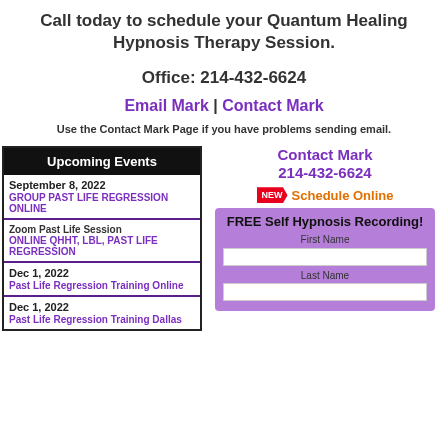Call today to schedule your Quantum Healing Hypnosis Therapy Session.
Office: 214-432-6624
Email Mark | Contact Mark
Use the Contact Mark Page if you have problems sending email.
Upcoming Events
September 8, 2022 — GROUP PAST LIFE REGRESSION ONLINE
Zoom Past Life Session — ONLINE QHHT, LBL, Past Life Regression
Dec 1, 2022 — Past Life Regression Training Online
Dec 1, 2022 — Past Life Regression Training Dallas
Contact Mark 214-432-6624
NEW Schedule Online
FREE Self Hypnosis Recording!